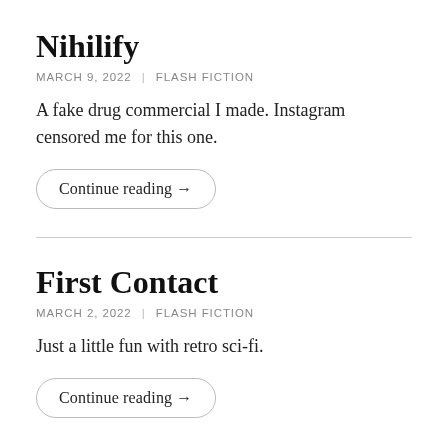Nihilify
MARCH 9, 2022 | FLASH FICTION
A fake drug commercial I made. Instagram censored me for this one.
Continue reading →
First Contact
MARCH 2, 2022 | FLASH FICTION
Just a little fun with retro sci-fi.
Continue reading →